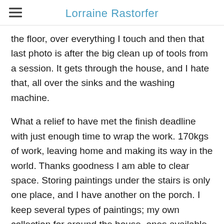Lorraine Rastorfer
the floor, over everything I touch and then that last photo is after the big clean up of tools from a session. It gets through the house, and I hate that, all over the sinks and the washing machine.
What a relief to have met the finish deadline with just enough time to wrap the work. 170kgs of work, leaving home and making its way in the world. Thanks goodness I am able to clear space. Storing paintings under the stairs is only one place, and I have another on the porch. I keep several types of paintings; my own collection for around the house, ones available for sale, ones that I want to keep because I want to keep working on them, and new boards ready for my next show.